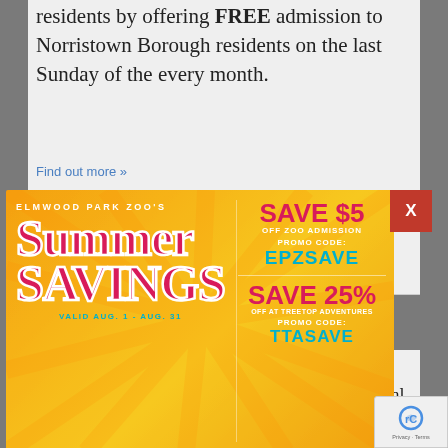residents by offering FREE admission to Norristown Borough residents on the last Sunday of the every month.
Find out more »
[Figure (infographic): Elmwood Park Zoo's Summer Savings advertisement banner. Yellow/orange background. Left side: 'ELMWOOD PARK ZOO'S' in white uppercase, large cursive red/white 'Summer SAVINGS' text, 'VALID AUG. 1 - AUG. 31' in teal. Right side: 'SAVE $5 OFF ZOO ADMISSION PROMO CODE: EPZSAVE' and 'SAVE 25% OFF AT TREETOP ADVENTURES PROMO CODE: TTASAVE']
X
Norristown, PA 19401 United States
Elmwood Park Zoo offers the opportunity for our guests with special needs and their family to enjoy early entry to the Zoo. This is a great